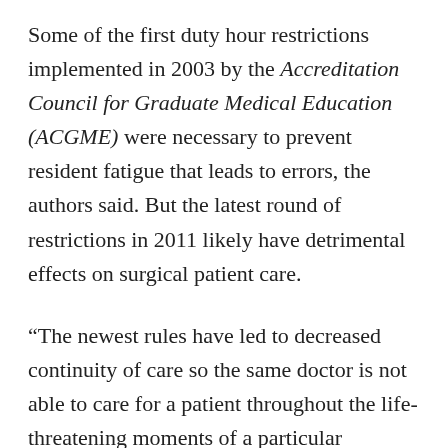Some of the first duty hour restrictions implemented in 2003 by the Accreditation Council for Graduate Medical Education (ACGME) were necessary to prevent resident fatigue that leads to errors, the authors said. But the latest round of restrictions in 2011 likely have detrimental effects on surgical patient care.
“The newest rules have led to decreased continuity of care so the same doctor is not able to care for a patient throughout the life-threatening moments of a particular episode,” Dr. Bilimoria said. “You want the person who knows you to take care of you through the really critical phases. Once you are stabilized or the operation is done, then you can hand off care in a